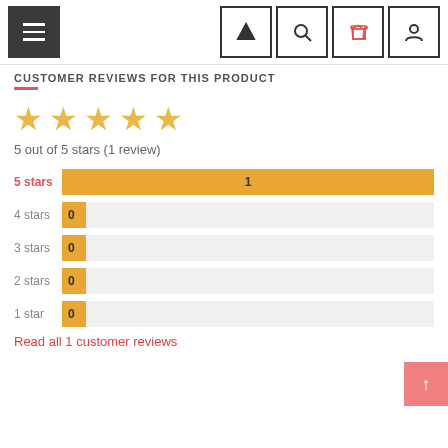Navigation bar with hamburger menu and icons: home, search, bag, user
CUSTOMER REVIEWS FOR THIS PRODUCT
[Figure (other): 5 yellow stars rating display]
5 out of 5 stars (1 review)
[Figure (bar-chart): Star rating distribution]
Read all 1 customer reviews